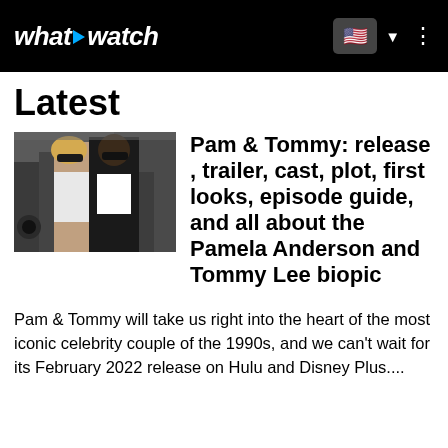whattowatch
Latest
[Figure (photo): Two people walking together, a blonde woman in sunglasses and a man in a black jacket, surrounded by photographers]
Pam & Tommy: release , trailer, cast, plot, first looks, episode guide, and all about the Pamela Anderson and Tommy Lee biopic
Pam & Tommy will take us right into the heart of the most iconic celebrity couple of the 1990s, and we can't wait for its February 2022 release on Hulu and Disney Plus....